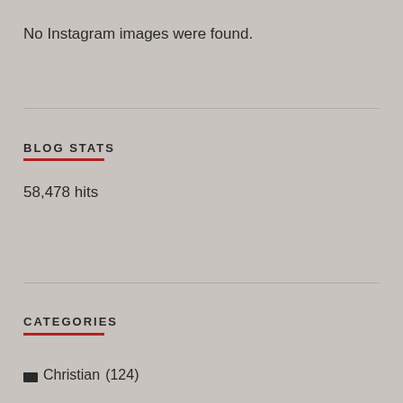No Instagram images were found.
BLOG STATS
58,478 hits
CATEGORIES
Christian (124)